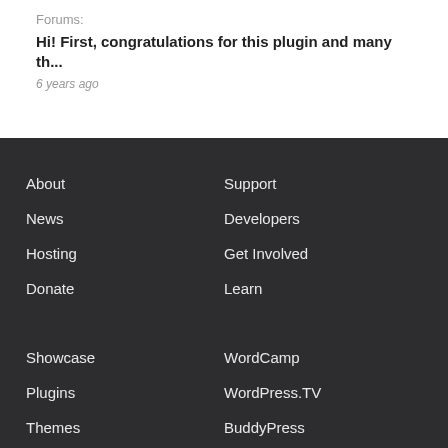Forums:
Hi! First, congratulations for this plugin and many th...
6 years ago
About
News
Hosting
Donate
Support
Developers
Get Involved
Learn
Showcase
WordCamp
Plugins
WordPress.TV
Themes
BuddyPress